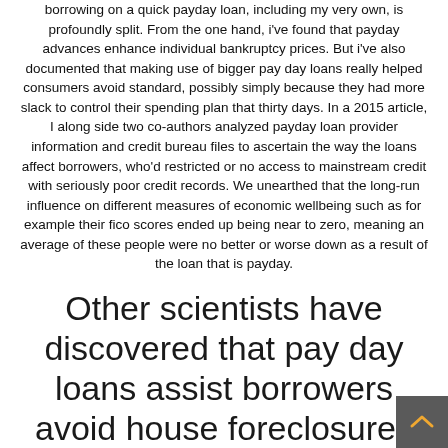borrowing on a quick payday loan, including my very own, is profoundly split. From the one hand, i've found that payday advances enhance individual bankruptcy prices. But i've also documented that making use of bigger pay day loans really helped consumers avoid standard, possibly simply because they had more slack to control their spending plan that thirty days. In a 2015 article, I along side two co-authors analyzed payday loan provider information and credit bureau files to ascertain the way the loans affect borrowers, who'd restricted or no access to mainstream credit with seriously poor credit records. We unearthed that the long-run influence on different measures of economic wellbeing such as for example their fico scores ended up being near to zero, meaning an average of these people were no better or worse down as a result of the loan that is payday.
Other scientists have discovered that pay day loans assist borrowers avoid house foreclosures which help limit